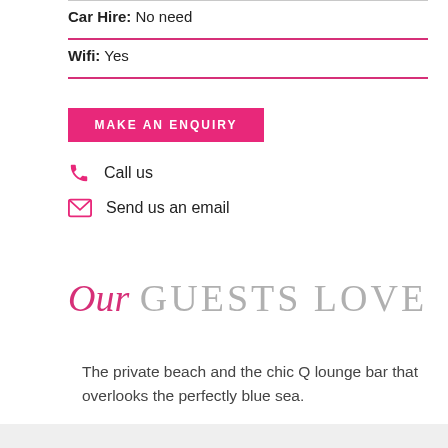Car Hire: No need
Wifi: Yes
MAKE AN ENQUIRY
Call us
Send us an email
Our GUESTS LOVE
The private beach and the chic Q lounge bar that overlooks the perfectly blue sea.